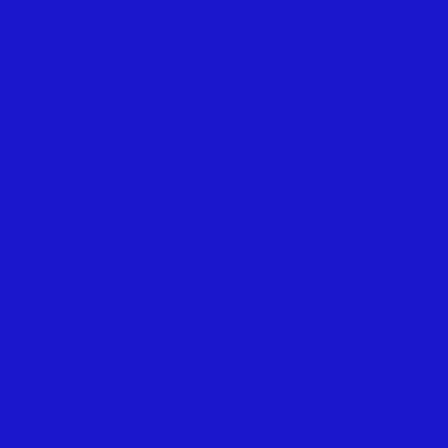your own life keep you s... drama.
20. Standing up for yourse... because of our own sile... buddy! Your delusion of...
21. Relationships that mak... more important to have ... moment of your time tog...
22. Knowing deep down th... some people. Do your b...
23. True intimate love. – Tr... True love is about how r...
24. Appreciating the beaut... two people accept and c... The Gifts of Imperfection...
25. Following through with... promises and hopes, bu... a promise long after the...
26. Giving a struggling so... those who show strength...
27. Helping someone who... the most. So treat every...
28. Knowing you did the ri... nobody's going to know...
29. Seeing genuine smile y... smile a little more than b...
30. Coming to a loving co...